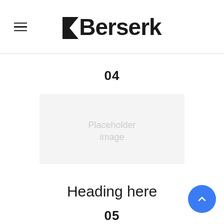Berserk
04
[Figure (illustration): Placeholder image area with light grey background and faint placeholder text]
Heading here
05